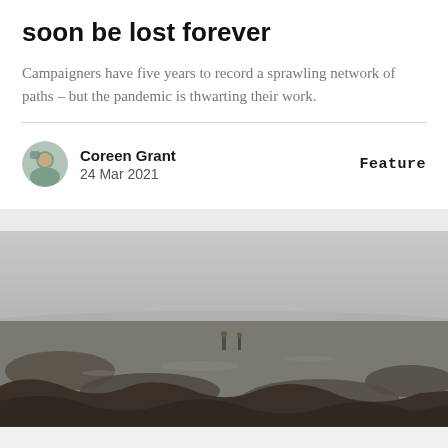soon be lost forever
Campaigners have five years to record a sprawling network of paths – but the pandemic is thwarting their work.
Coreen Grant
24 Mar 2021
Feature
[Figure (photo): Two people standing on a misty, rocky coastal flat with seaweed scattered across the foreground. The scene is grey and overcast.]